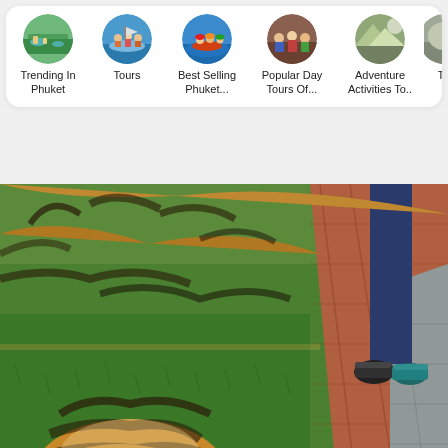[Figure (screenshot): Navigation category bar with circular thumbnail images and labels: Trending In Phuket, Tours, Best Selling Phuket..., Popular Day Tours Of..., Adventure Activities To..., Th... (partially visible)]
[Figure (photo): Close-up photo of a tiger lying on green grass with striped fur and large paws visible, person's legs/sneakers in background on brick path]
Easily one of the most valuable things to do in Phuket is visiting Tiger Kingdom that offers you to enjoy an intimate and interactive with tigers. You can share a fare with these giants, play with tiger cubs and all that with no bar or cage in between. Hundreds and [faded text continues]
Read More
[Figure (photo): Tiger Kingdom Phuket ticket card with thumbnail of tiger face close-up on left, title 'Tiger Kingdom Phuket Tickets' and location 'Phuket' on right]